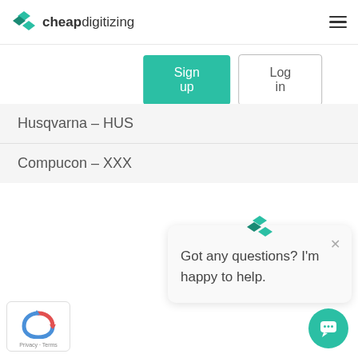cheapdigitizing
Sign up
Log in
Husqvarna – HUS
Compucon – XXX
See file formats
Got any questions? I'm happy to help.
[Figure (logo): reCAPTCHA logo with Privacy · Terms text]
[Figure (other): Chat support button (teal circle with speech bubble icon)]